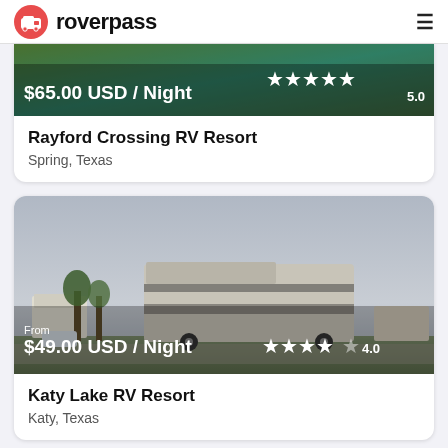roverpass
[Figure (photo): RV resort photo partially visible at top showing greenery and a pool area, with price overlay showing $65.00 USD / Night and 5.0 star rating]
Rayford Crossing RV Resort
Spring, Texas
[Figure (photo): Outdoor RV resort photo showing a large fifth-wheel RV under a cloudy sky with other RVs and trees in background, with price overlay showing From $49.00 USD / Night and 4.0 star rating]
Katy Lake RV Resort
Katy, Texas